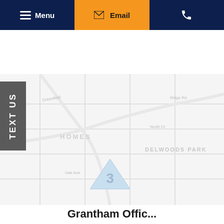Menu | Email | (phone icon)
Columbia Office Location
[Figure (map): A street/area map showing a Columbia office location with a triangle marker labeled '3', and map watermark labels including 'HOMES', 'DELWOODS PARK']
TEXT US
Grantham Office...